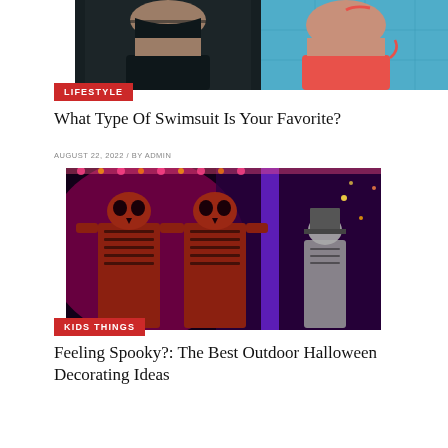[Figure (photo): Two swimsuit models cropped at torso — left in black two-piece near pool, right in coral/orange bikini near blue tiled pool]
LIFESTYLE
What Type Of Swimsuit Is Your Favorite?
AUGUST 22, 2022 / BY ADMIN
[Figure (photo): Halloween skeleton decorations lit with red and purple neon lights, multiple skeleton figures posed against a dark spooky background]
KIDS THINGS
Feeling Spooky?: The Best Outdoor Halloween Decorating Ideas